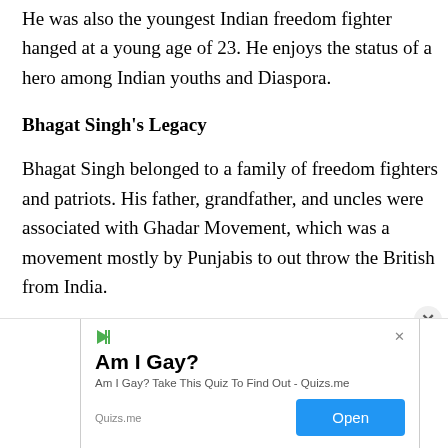He was also the youngest Indian freedom fighter hanged at a young age of 23. He enjoys the status of a hero among Indian youths and Diaspora.
Bhagat Singh's Legacy
Bhagat Singh belonged to a family of freedom fighters and patriots. His father, grandfather, and uncles were associated with Ghadar Movement, which was a movement mostly by Punjabis to out throw the British from India.
[Figure (other): Advertisement banner: 'Am I Gay?' quiz advertisement from Quizs.me with an Open button]